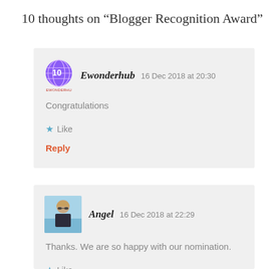10 thoughts on “Blogger Recognition Award”
Ewonderhub   16 Dec 2018 at 20:30
Congratulations
★ Like
Reply
Angel   16 Dec 2018 at 22:29
Thanks. We are so happy with our nomination.
★ Like
Reply